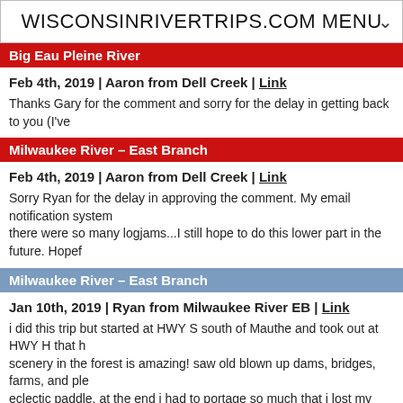WISCONSINRIVERTRIPS.COM MENU
Big Eau Pleine River
Feb 4th, 2019 | Aaron from Dell Creek | Link
Thanks Gary for the comment and sorry for the delay in getting back to you (I've
Milwaukee River – East Branch
Feb 4th, 2019 | Aaron from Dell Creek | Link
Sorry Ryan for the delay in approving the comment. My email notification system there were so many logjams...I still hope to do this lower part in the future. Hopef
Milwaukee River – East Branch
Jan 10th, 2019 | Ryan from Milwaukee River EB | Link
i did this trip but started at HWY S south of Mauthe and took out at HWY H that h scenery in the forest is amazing! saw old blown up dams, bridges, farms, and ple eclectic paddle. at the end i had to portage so much that i lost my shoe in mud a
Big Eau Pleine River
Dec 18th, 2018 | Gary Kutzler from Rock River (not the best) | Link
Just want to say this is a valuable site. I used it to discover the Bark river which is one at Birkato. The way you have the star rating, video and pictures is also